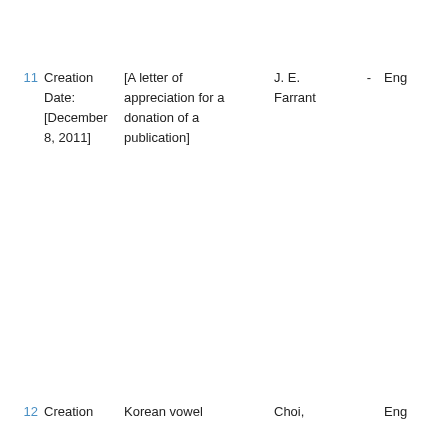| # | Creation Date | Title | Author | - | Language |
| --- | --- | --- | --- | --- | --- |
| 11 | Creation Date:
[December 8, 2011] | [A letter of appreciation for a donation of a publication] | J. E. Farrant | - | Eng |
| 12 | Creation | Korean vowel | Choi, |  | Eng |